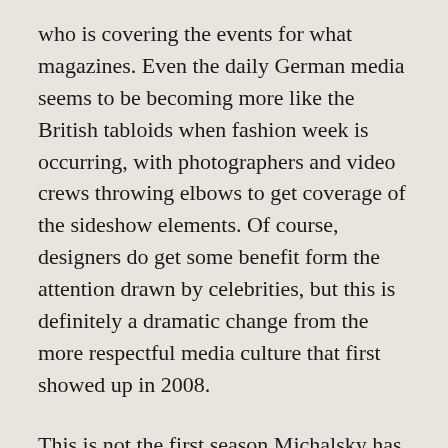who is covering the events for what magazines. Even the daily German media seems to be becoming more like the British tabloids when fashion week is occurring, with photographers and video crews throwing elbows to get coverage of the sideshow elements. Of course, designers do get some benefit form the attention drawn by celebrities, but this is definitely a dramatic change from the more respectful media culture that first showed up in 2008.
This is not the first season Michalsky has run an off site show, and he is well known for working in a very conceptual and holistic way, so it is no surprise that he is designing beyond